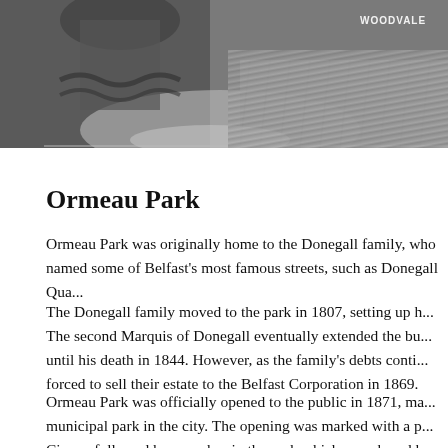[Figure (photo): Black and white photograph showing a decorative statue or chain element on the left and grass/parkland on the right. A watermark text 'WOODVALE' is visible in the upper right corner.]
Ormeau Park
Ormeau Park was originally home to the Donegall family, who named some of Belfast's most famous streets, such as Donegall Qua...
The Donegall family moved to the park in 1807, setting up h... The second Marquis of Donegall eventually extended the bu... until his death in 1844. However, as the family's debts conti... forced to sell their estate to the Belfast Corporation in 1869...
Ormeau Park was officially opened to the public in 1871, ma... municipal park in the city. The opening was marked with a p... Circus, followed by speeches in the park which were heard by...